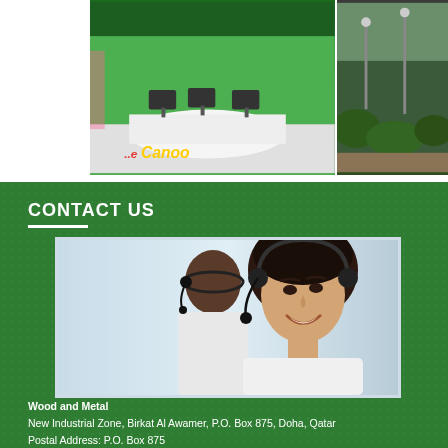[Figure (photo): Two photos side by side: left shows a Canoo store interior with green decor and service counter, right shows an outdoor area with trees and street lights]
CONTACT US
[Figure (photo): Call center operators, two women wearing headsets, one smiling in foreground]
Wood and Metal
New Industrial Zone, Birkat Al Awamer, P.O. Box 875, Doha, Qatar
Postal Address: P.O. Box 875
Contact Person: Mr. IrfanTalkhani
Telephone: (+974)3351-2740; (+974) 40174118; (+974)44998800